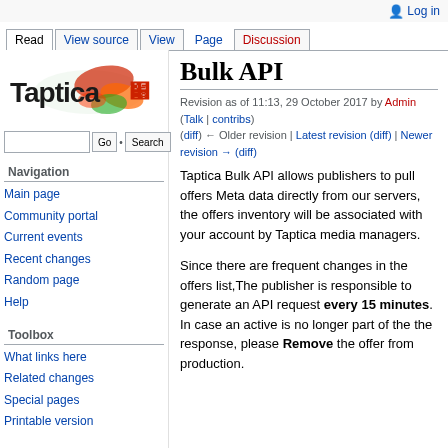Log in
Read | View source | View | Page | Discussion
[Figure (logo): Taptica logo with colorful paint splash]
Bulk API
Revision as of 11:13, 29 October 2017 by Admin (Talk | contribs) (diff) ← Older revision | Latest revision (diff) | Newer revision → (diff)
Taptica Bulk API allows publishers to pull offers Meta data directly from our servers, the offers inventory will be associated with your account by Taptica media managers.
Since there are frequent changes in the offers list,The publisher is responsible to generate an API request every 15 minutes. In case an active is no longer part of the the response, please Remove the offer from production.
Navigation
Main page
Community portal
Current events
Recent changes
Random page
Help
Toolbox
What links here
Related changes
Special pages
Printable version